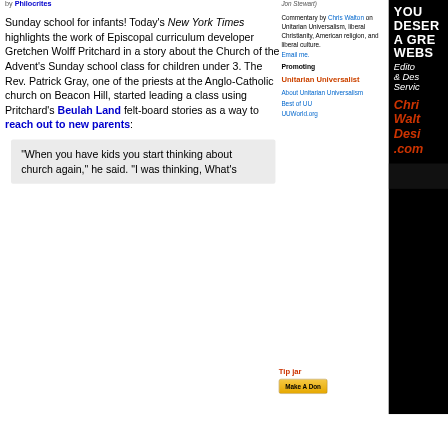by Philocrites
Sunday school for infants! Today's New York Times highlights the work of Episcopal curriculum developer Gretchen Wolff Pritchard in a story about the Church of the Advent's Sunday school class for children under 3. The Rev. Patrick Gray, one of the priests at the Anglo-Catholic church on Beacon Hill, started leading a class using Pritchard's Beulah Land felt-board stories as a way to reach out to new parents:
"When you have kids you start thinking about church again," he said. "I was thinking, What's
Jon Stewart)
Commentary by Chris Walton on Unitarian Universalism, liberal Christianity, American religion, and liberal culture. Email me.
Promoting
Unitarian Universalist
About Unitarian Universalism
Best of UU
UUWorld.org
[Figure (infographic): Advertisement: YOU DESERVE A GREAT WEBSITE - Editorial & Design Services - Chris Walton Design .com]